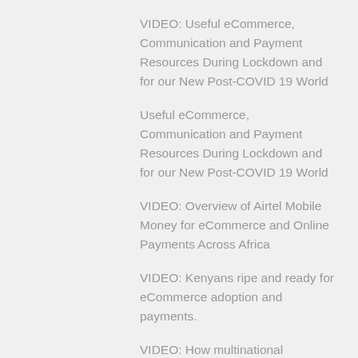VIDEO: Useful eCommerce, Communication and Payment Resources During Lockdown and for our New Post-COVID 19 World
Useful eCommerce, Communication and Payment Resources During Lockdown and for our New Post-COVID 19 World
VIDEO: Overview of Airtel Mobile Money for eCommerce and Online Payments Across Africa
VIDEO: Kenyans ripe and ready for eCommerce adoption and payments.
VIDEO: How multinational eCommerce companies can save money and improve their global payments experience and jurisdictional financial operation
VIDEO: eCommerce and Payments: Africa's